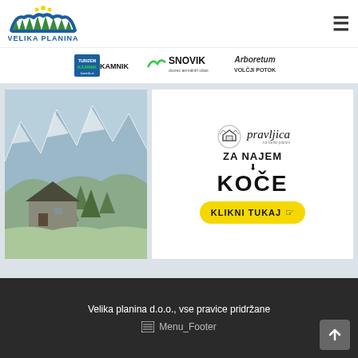Velika planina — navigation header with logo and hamburger menu
[Figure (logo): Velika planina logo: stylized arch/mountain graphic with text VELIKA PLANINA]
[Figure (logo): Partner logos bar: Kamnik, Snovik, Arboretum Volčji Potok]
[Figure (photo): Alpine landscape with mountain huts and snowy peaks in background]
[Figure (infographic): Advertisement: pravljica na Veliki planini — ZA NAJEM KOČE — KLIKNI TUKAJ (yellow button)]
Velika planina d.o.o., vse pravice pridržane
Menu_Footer